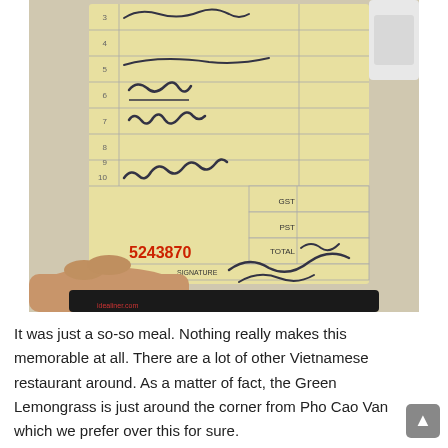[Figure (photo): A photo of a hand holding a restaurant receipt/check presenter with handwritten entries, showing line numbers, handwritten scrawl for items, GST/PST/TOTAL labels, and a red number '5243870' printed on the slip. The receipt appears to be from a Vietnamese restaurant.]
It was just a so-so meal. Nothing really makes this memorable at all. There are a lot of other Vietnamese restaurant around. As a matter of fact, the Green Lemongrass is just around the corner from Pho Cao Van which we prefer over this for sure.